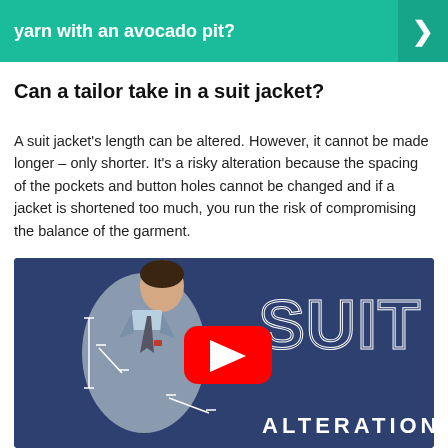yarn with an avocado pit?
Can a tailor take in a suit jacket?
A suit jacket's length can be altered. However, it cannot be made longer – only shorter. It's a risky alteration because the spacing of the pockets and button holes cannot be changed and if a jacket is shortened too much, you run the risk of compromising the balance of the garment.
[Figure (screenshot): YouTube video thumbnail showing a man in a grey suit jacket with text reading SUIT ALTERATIONS on a dark blue background, with a YouTube play button overlay.]